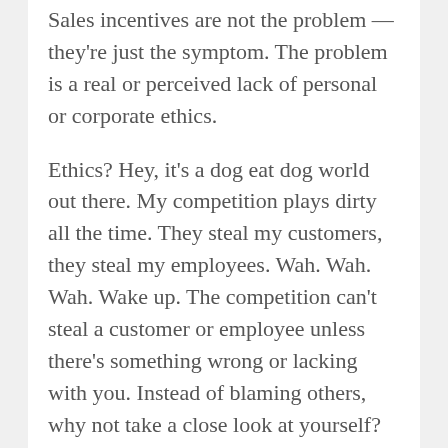Sales incentives are not the problem — they're just the symptom. The problem is a real or perceived lack of personal or corporate ethics.
Ethics? Hey, it's a dog eat dog world out there. My competition plays dirty all the time. They steal my customers, they steal my employees. Wah. Wah. Wah. Wake up. The competition can't steal a customer or employee unless there's something wrong or lacking with you. Instead of blaming others, why not take a close look at yourself?